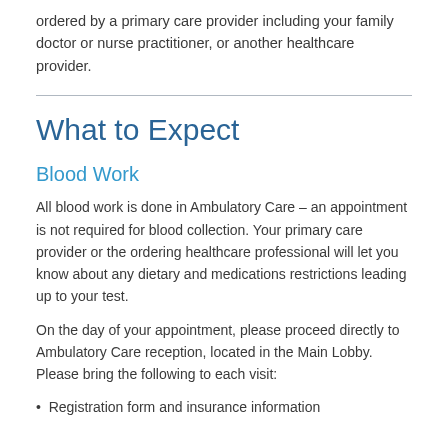ordered by a primary care provider including your family doctor or nurse practitioner, or another healthcare provider.
What to Expect
Blood Work
All blood work is done in Ambulatory Care – an appointment is not required for blood collection. Your primary care provider or the ordering healthcare professional will let you know about any dietary and medications restrictions leading up to your test.
On the day of your appointment, please proceed directly to Ambulatory Care reception, located in the Main Lobby. Please bring the following to each visit:
Registration form and insurance information